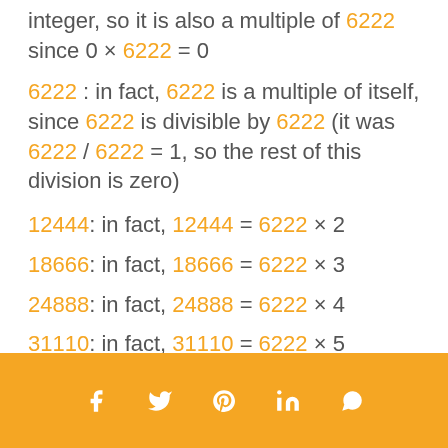integer, so it is also a multiple of 6222 since 0 × 6222 = 0
6222 : in fact, 6222 is a multiple of itself, since 6222 is divisible by 6222 (it was 6222 / 6222 = 1, so the rest of this division is zero)
12444: in fact, 12444 = 6222 × 2
18666: in fact, 18666 = 6222 × 3
24888: in fact, 24888 = 6222 × 4
31110: in fact, 31110 = 6222 × 5
etc.
[Figure (other): Social media share icons bar: Facebook, Twitter, Pinterest, LinkedIn, WhatsApp on orange background]